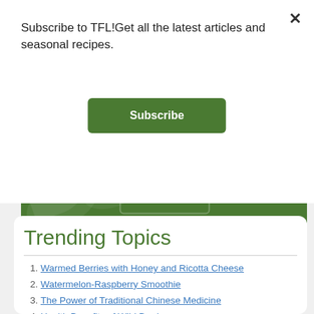Subscribe to TFL!Get all the latest articles and seasonal recipes.
Subscribe
[Figure (illustration): Green rounded rectangle banner with subtle leaf watermark design]
Trending Topics
1. Warmed Berries with Honey and Ricotta Cheese
2. Watermelon-Raspberry Smoothie
3. The Power of Traditional Chinese Medicine
4. Health Benefits of Wild Berries
5. Tomato-Basil Topping
6. Toasted Bread for Bruschetta